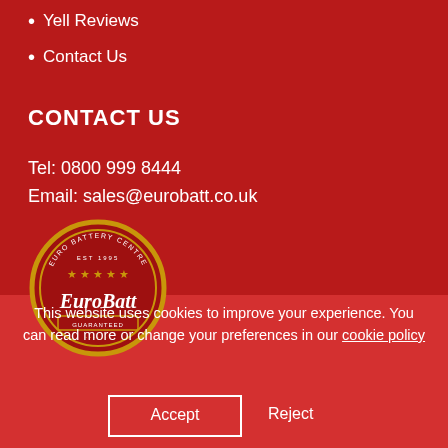Yell Reviews
Contact Us
CONTACT US
Tel: 0800 999 8444
Email: sales@eurobatt.co.uk
[Figure (logo): Euro Battery Centre circular logo with gold border, stars, and EuroBatt script text with 'GUARANTEED' banner]
This website uses cookies to improve your experience. You can read more or change your preferences in our cookie policy
Accept  Reject